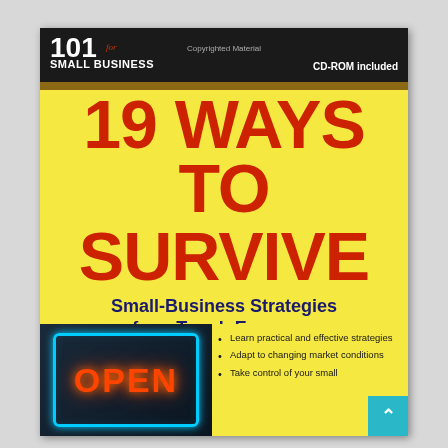[Figure (illustration): Book cover for '19 Ways to Survive: Small-Business Strategies for a Tough Economy' by Lynn Spry and Philip Spry, part of the '101 for Small Business' series. Dark top banner with series name and 'CD-ROM included' note. Large red bold title '19 WAYS TO SURVIVE' on yellow background. Navy blue subtitle 'Small-Business Strategies for a Tough Economy'. Author names. Bottom section shows an OPEN neon sign photo on left, and bullet points on right. Teal arrow button in bottom-right corner.]